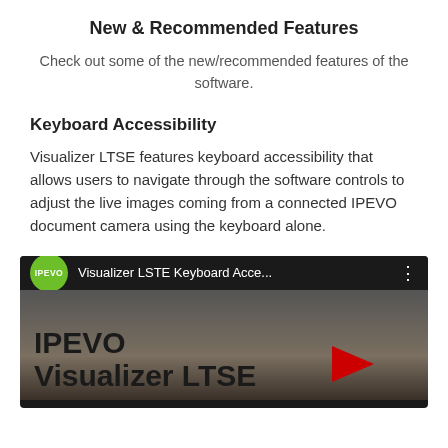New & Recommended Features
Check out some of the new/recommended features of the software.
Keyboard Accessibility
Visualizer LTSE features keyboard accessibility that allows users to navigate through the software controls to adjust the live images coming from a connected IPEVO document camera using the keyboard alone.
[Figure (screenshot): YouTube video thumbnail for 'Visualizer LSTE Keyboard Acce...' with IPEVO green logo badge, black top bar, and large bold text 'IPEVO Visualizer LTSE' on a dark brownish background with a red YouTube play arrow partially visible.]